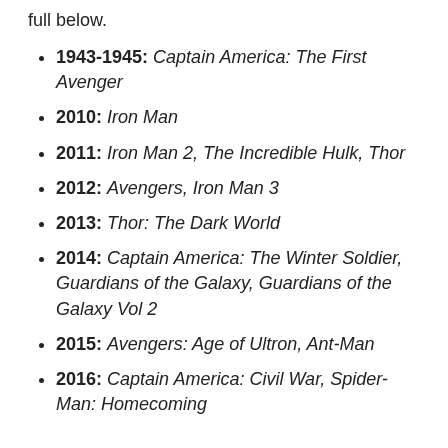full below.
1943-1945: Captain America: The First Avenger
2010: Iron Man
2011: Iron Man 2, The Incredible Hulk, Thor
2012: Avengers, Iron Man 3
2013: Thor: The Dark World
2014: Captain America: The Winter Soldier, Guardians of the Galaxy, Guardians of the Galaxy Vol 2
2015: Avengers: Age of Ultron, Ant-Man
2016: Captain America: Civil War, Spider-Man: Homecoming